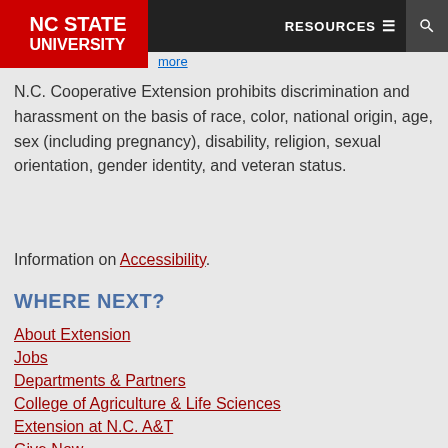NC STATE UNIVERSITY | RESOURCES
N.C. Cooperative Extension prohibits discrimination and harassment on the basis of race, color, national origin, age, sex (including pregnancy), disability, religion, sexual orientation, gender identity, and veteran status.
Information on Accessibility.
WHERE NEXT?
About Extension
Jobs
Departments & Partners
College of Agriculture & Life Sciences
Extension at N.C. A&T
Give Now